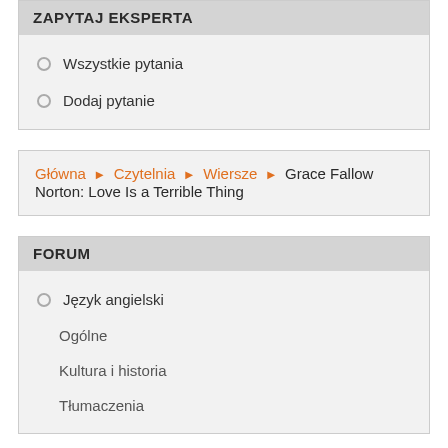ZAPYTAJ EKSPERTA
Wszystkie pytania
Dodaj pytanie
Główna ▶ Czytelnia ▶ Wiersze ▶ Grace Fallow Norton: Love Is a Terrible Thing
FORUM
Język angielski
Ogólne
Kultura i historia
Tłumaczenia